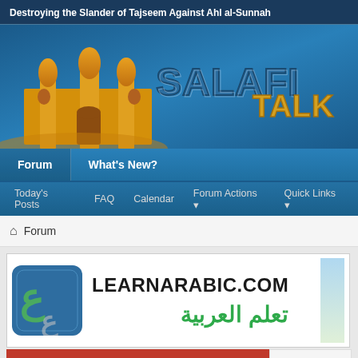Destroying the Slander of Tajseem Against Ahl al-Sunnah
[Figure (logo): SalafiTalk website banner with illustrated mosque/castle building on left and stylized 'SALAFI TALK' logo text on blue gradient background]
Forum | What's New?
Today's Posts | FAQ | Calendar | Forum Actions | Quick Links
Forum
[Figure (screenshot): LearnArabic.com advertisement banner showing logo with Arabic calligraphy icon, LEARNARABIC.COM text in bold, and Arabic text تعلم العربية in green]
AN EXTREMI...